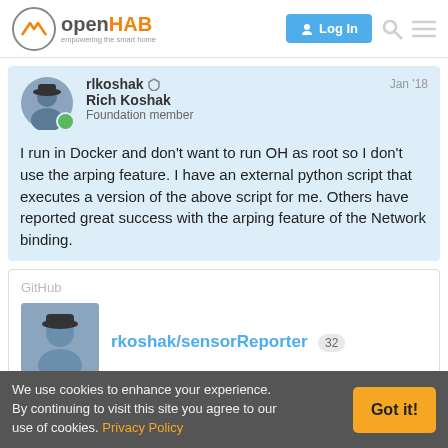openHAB - empowering the smart home | Log In
rlkoshak | Rich Koshak | Foundation member | Jan '18
I run in Docker and don't want to run OH as root so I don't use the arping feature. I have an external python script that executes a version of the above script for me. Others have reported great success with the arping feature of the Network binding.
GitHub
rkoshak/sensorReporter 32
We use cookies to enhance your experience. By continuing to visit this site you agree to our use of cookies. Privacy Policy